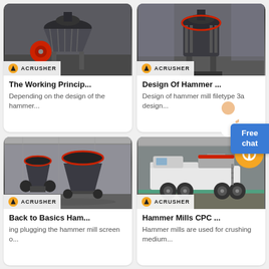[Figure (photo): Cone crusher machine, dark gray and red, industrial setting with ACRUSHER logo]
The Working Princip...
Depending on the design of the hammer...
[Figure (photo): Cone crusher on support legs in factory, ACRUSHER logo]
Design Of Hammer ...
Design of hammer mill filetype 3a design...
[Figure (photo): Large cone crushers in factory hall, ACRUSHER logo]
Back to Basics Ham...
ing plugging the hammer mill screen o...
[Figure (photo): Mobile crusher machine on wheels in factory, orange circle icon, ACRUSHER logo]
Hammer Mills CPC ...
Hammer mills are used for crushing medium...